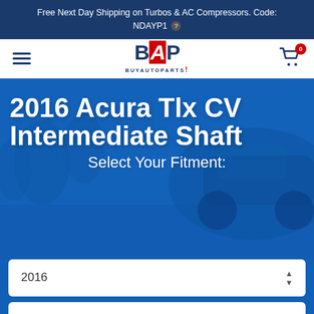Free Next Day Shipping on Turbos & AC Compressors. Code: NDAYP1
[Figure (logo): BuyAutoParts (BAP) logo with hamburger menu and shopping cart with badge showing 0]
2016 Acura Tlx CV Intermediate Shaft
Select Your Fitment:
2016
Acura